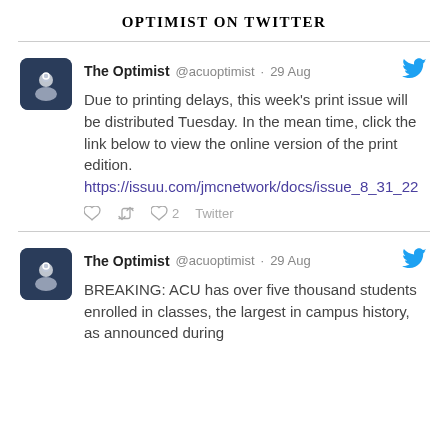OPTIMIST ON TWITTER
The Optimist @acuoptimist · 29 Aug
Due to printing delays, this week's print issue will be distributed Tuesday. In the mean time, click the link below to view the online version of the print edition. https://issuu.com/jmcnetwork/docs/issue_8_31_22
The Optimist @acuoptimist · 29 Aug
BREAKING: ACU has over five thousand students enrolled in classes, the largest in campus history, as announced during